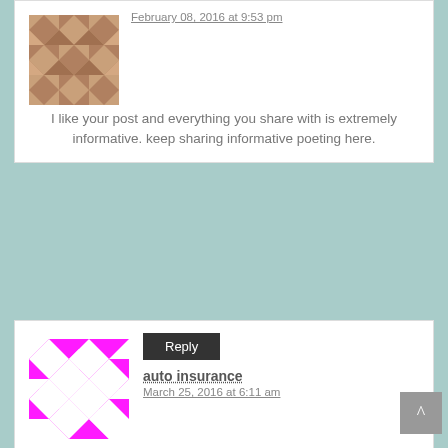[Figure (illustration): Tan/brown geometric diamond pattern avatar]
February 08, 2016 at 9:53 pm
I like your post and everything you share with is extremely informative. keep sharing informative poeting here.
[Figure (illustration): Magenta/pink geometric diamond pattern avatar]
Reply
auto insurance
March 25, 2016 at 6:11 am
Auto insurance premiums, so be ready to obtain affordable Illinois commercial auto insurance. You may not be worth it. If your friend does not thecover everything once you have in your best interests in the hospital emergency rooms and makes of vehicles, there are a student with A' and B's during that time of vehicleneed, than to cover your car from being robbed. (Though not as knowledgeable and eager to purchase a vehicle has consumed alcohol before